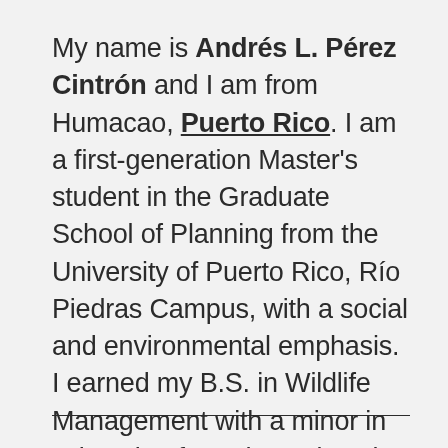My name is Andrés L. Pérez Cintrón and I am from Humacao, Puerto Rico. I am a first-generation Master's student in the Graduate School of Planning from the University of Puerto Rico, Río Piedras Campus, with a social and environmental emphasis. I earned my B.S. in Wildlife Management with a minor in Education from the University of Puerto, Humacao Campus.